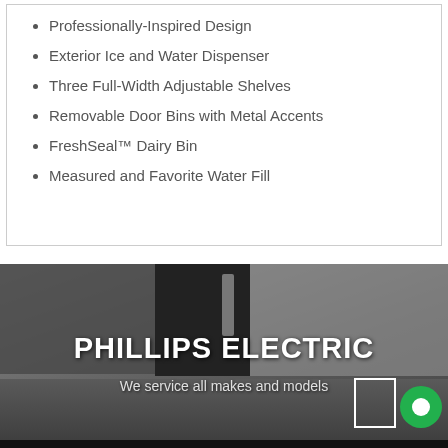Professionally-Inspired Design
Exterior Ice and Water Dispenser
Three Full-Width Adjustable Shelves
Removable Door Bins with Metal Accents
FreshSeal™ Dairy Bin
Measured and Favorite Water Fill
[Figure (photo): Kitchen scene with dark appliance (refrigerator/dishwasher) in a modern kitchen setting, overlaid with Phillips Electric branding text]
PHILLIPS ELECTRIC
We service all makes and models
We service all makes and models.